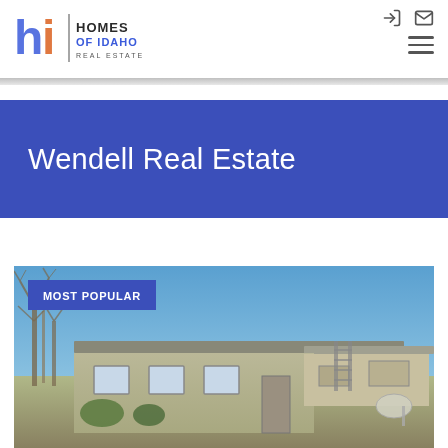[Figure (logo): Homes of Idaho Real Estate logo with 'hi' stylized letters in blue, orange, and brown, with vertical divider and text 'HOMES OF IDAHO REAL ESTATE']
Wendell Real Estate
[Figure (photo): Exterior photo of a residential property in Wendell, Idaho. Single-story home with a metal or flat roof, bare trees visible on the left, blue sky background. A 'MOST POPULAR' badge overlays the top-left corner of the photo.]